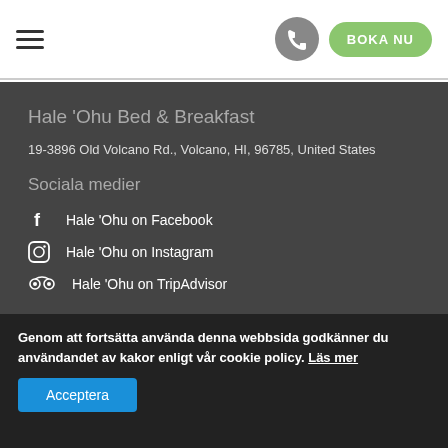≡  BOKA NU
Hale 'Ohu Bed & Breakfast
19-3896 Old Volcano Rd., Volcano, HI, 96785, United States
Sociala medier
Hale 'Ohu on Facebook
Hale 'Ohu on Instagram
Hale 'Ohu on TripAdvisor
Genom att fortsätta använda denna webbsida godkänner du användandet av kakor enligt vår cookie policy. Läs mer
Acceptera